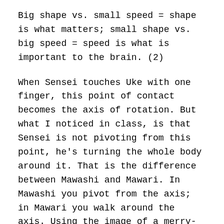Big shape vs. small speed = shape is what matters; small shape vs. big speed = speed is what is important to the brain. (2)
When Sensei touches Uke with one finger, this point of contact becomes the axis of rotation. But what I noticed in class, is that Sensei is not pivoting from this point, he's turning the whole body around it. That is the difference between Mawashi and Mawari. In Mawashi you pivot from the axis; in Mawari you walk around the axis. Using the image of a merry-go-round, it rotates on the axis, but you on the horse are turning around. We studied that in 2003 with the Kunai.
When you attack sensei, you have the feeling that you're going to hit him because it seems to you that